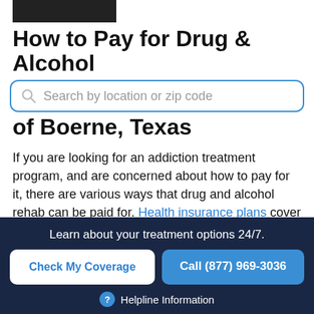[Figure (photo): Dark photograph strip at top left]
How to Pay for Drug & Alcohol
[Figure (other): Search box with placeholder text: Search by location or zip code]
of Boerne, Texas
If you are looking for an addiction treatment program, and are concerned about how to pay for it, there are various ways that drug and alcohol rehab can be paid for. Health insurance plans cover services considered essential health benefits under the Affordable Care
Learn about your treatment options 24/7.
Check My Coverage
Call (877) 969-3036
Helpline Information